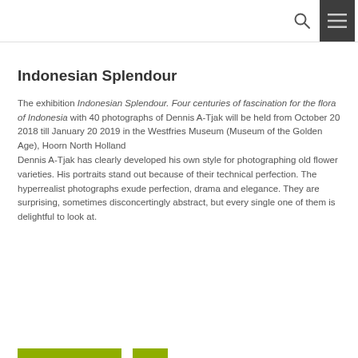[search icon] [menu icon]
Indonesian Splendour
The exhibition Indonesian Splendour. Four centuries of fascination for the flora of Indonesia with 40 photographs of Dennis A-Tjak will be held from October 20 2018 till January 20 2019 in the Westfries Museum (Museum of the Golden Age), Hoorn North Holland
Dennis A-Tjak has clearly developed his own style for photographing old flower varieties. His portraits stand out because of their technical perfection. The hyperrealist photographs exude perfection, drama and elegance. They are surprising, sometimes disconcertingly abstract, but every single one of them is delightful to look at.